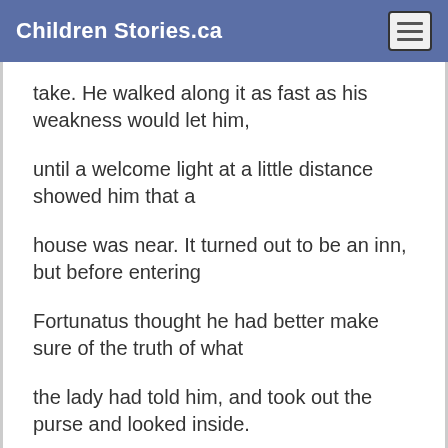Children Stories.ca
take. He walked along it as fast as his weakness would let him,
until a welcome light at a little distance showed him that a
house was near. It turned out to be an inn, but before entering
Fortunatus thought he had better make sure of the truth of what
the lady had told him, and took out the purse and looked inside.
Sure enough there were the ten pieces of gold, shining brightly